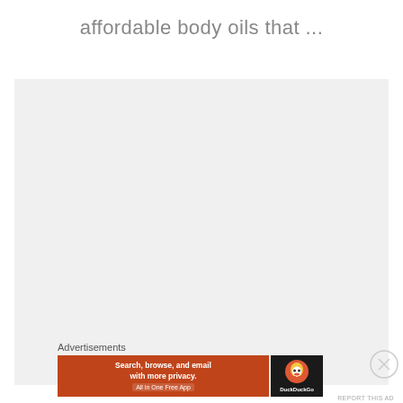affordable body oils that ...
[Figure (other): Large empty gray placeholder rectangle, likely for an image or ad that failed to load]
Advertisements
[Figure (other): DuckDuckGo advertisement banner with orange left section reading 'Search, browse, and email with more privacy. All in One Free App' and dark right section with DuckDuckGo duck logo and brand name]
REPORT THIS AD